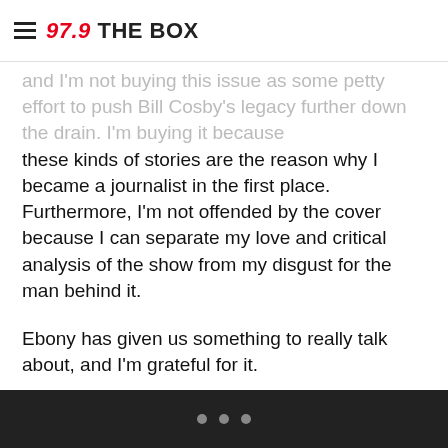97.9 THE BOX
and I'm not buying this issue as some petty effort to push Bill Cosby's legacy further down the drain. I'm buying it because these kinds of stories are the reason why I became a journalist in the first place. Furthermore, I'm not offended by the cover because I can separate my love and critical analysis of the show from my disgust for the man behind it.
Ebony has given us something to really talk about, and I'm grateful for it.
RELATED LINKS:
Ebony Slams 'The Cosby Show' In Its Latest Issue
To Deny That Bill Cosby Is A Rapist Is To Deny What Rape Is